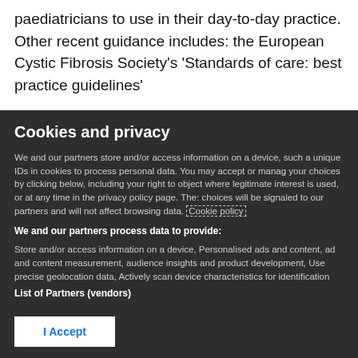paediatricians to use in their day-to-day practice. Other recent guidance includes: the European Cystic Fibrosis Society's 'Standards of care: best practice guidelines'
Cookies and privacy
We and our partners store and/or access information on a device, such a unique IDs in cookies to process personal data. You may accept or manag your choices by clicking below, including your right to object where legitimate interest is used, or at any time in the privacy policy page. The: choices will be signaled to our partners and will not affect browsing data. Cookie policy
We and our partners process data to provide:
Store and/or access information on a device, Personalised ads and content, ad and content measurement, audience insights and product development, Use precise geolocation data, Actively scan device characteristics for identification
List of Partners (vendors)